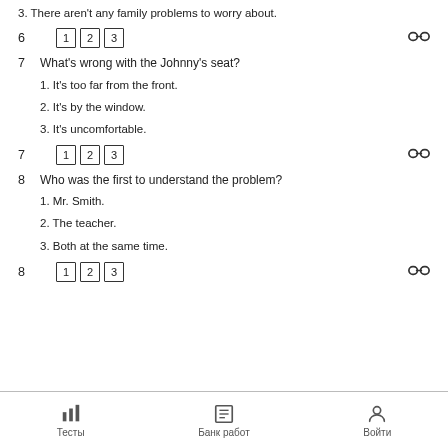3. There aren't any family problems to worry about.
6  [1] [2] [3]
7  What's wrong with the Johnny's seat?
1. It's too far from the front.
2. It's by the window.
3. It's uncomfortable.
7  [1] [2] [3]
8  Who was the first to understand the problem?
1. Mr. Smith.
2. The teacher.
3. Both at the same time.
8  [1] [2] [3]
Тесты   Банк работ   Войти